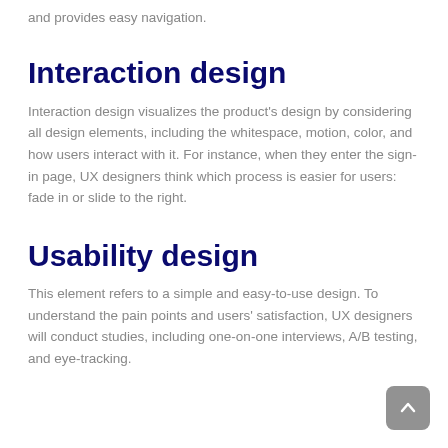and provides easy navigation.
Interaction design
Interaction design visualizes the product's design by considering all design elements, including the whitespace, motion, color, and how users interact with it. For instance, when they enter the sign-in page, UX designers think which process is easier for users: fade in or slide to the right.
Usability design
This element refers to a simple and easy-to-use design. To understand the pain points and users' satisfaction, UX designers will conduct studies, including one-on-one interviews, A/B testing, and eye-tracking.